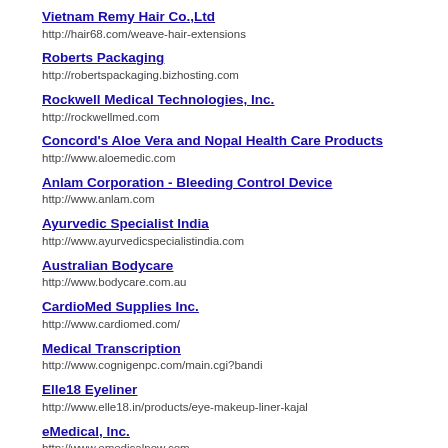Vietnam Remy Hair Co.,Ltd
http://hair68.com/weave-hair-extensions
Roberts Packaging
http://robertspackaging.bizhosting.com
Rockwell Medical Technologies, Inc.
http://rockwellmed.com
Concord's Aloe Vera and Nopal Health Care Products
http://www.aloemedic.com
Anlam Corporation - Bleeding Control Device
http://www.anlam.com
Ayurvedic Specialist India
http://www.ayurvedicspecialistindia.com
Australian Bodycare
http://www.bodycare.com.au
CardioMed Supplies Inc.
http://www.cardiomed.com/
Medical Transcription
http://www.cognigenpc.com/main.cgi?bandi
Elle18 Eyeliner
http://www.elle18.in/products/eye-makeup-liner-kajal
eMedical, Inc.
http://www.emedicalnow.com
EraseMS...Walkers,Wheelchairs,Seatlifts,Liftchairs
http://www.EraseMS.com